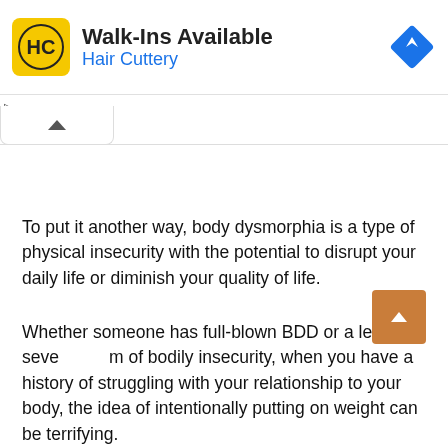[Figure (illustration): Hair Cuttery advertisement banner with yellow HC logo, text 'Walk-Ins Available' and 'Hair Cuttery' in blue, and a blue diamond-shaped navigation/directions icon on the right]
To put it another way, body dysmorphia is a type of physical insecurity with the potential to disrupt your daily life or diminish your quality of life.
Whether someone has full-blown BDD or a less severe form of bodily insecurity, when you have a history of struggling with your relationship to your body, the idea of intentionally putting on weight can be terrifying.